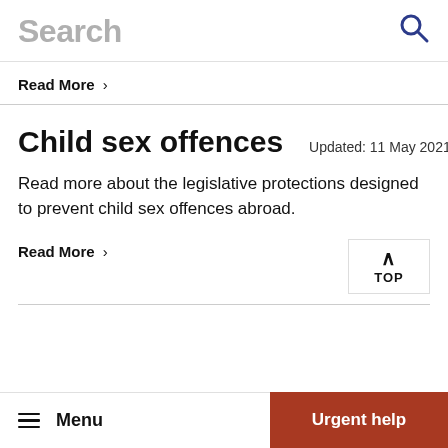Search
Read More >
Child sex offences
Updated: 11 May 2021
Read more about the legislative protections designed to prevent child sex offences abroad.
Read More >
TOP
Menu  Urgent help